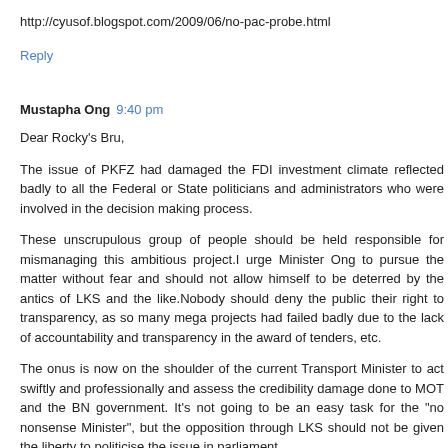http://cyusof.blogspot.com/2009/06/no-pac-probe.html
Reply
Mustapha Ong  9:40 pm
Dear Rocky's Bru,
The issue of PKFZ had damaged the FDI investment climate reflected badly to all the Federal or State politicians and administrators who were involved in the decision making process.
These unscrupulous group of people should be held responsible for mismanaging this ambitious project.I urge Minister Ong to pursue the matter without fear and should not allow himself to be deterred by the antics of LKS and the like.Nobody should deny the public their right to transparency, as so many mega projects had failed badly due to the lack of accountability and transparency in the award of tenders, etc.
The onus is now on the shoulder of the current Transport Minister to act swiftly and professionally and assess the credibility damage done to MOT and the BN government. It's not going to be an easy task for the "no nonsense Minister", but the opposition through LKS should not be given the liberty to politicise the issue in parliament.
LKS is trying to be personal, though he may have his own reasons to let off steam and barking furiously on the back of the Minister.Who is not the rakyat's business,as long as the PKFZ is being investigated with a